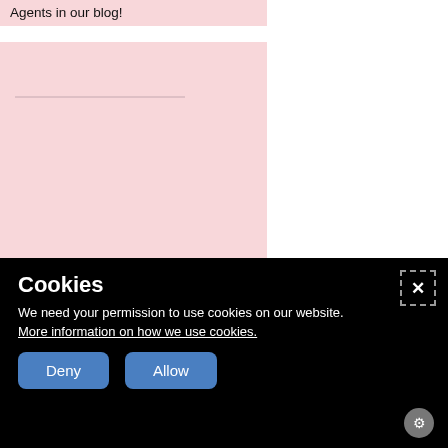Agents in our blog!
[Figure (photo): Pink background card area with a faint horizontal line, representing a workshop photo placeholder]
Diversity Agents in a workshop facilitated by Nina Osenius from
Cookies
We need your permission to use cookies on our website. More information on how we use cookies.
Deny   Allow